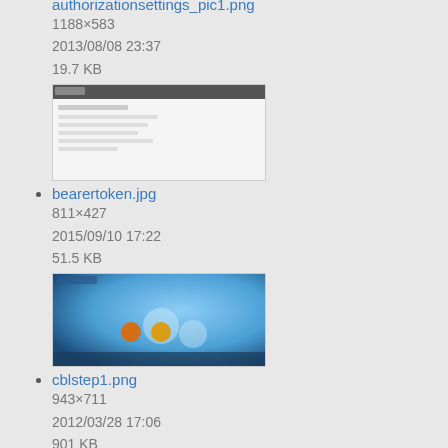authorizationsettings_pic1.png
1188×583
2013/08/08 23:37
19.7 KB
bearertoken.jpg
811×427
2015/09/10 17:22
51.5 KB
cblstep1.png
943×711
2012/03/28 17:06
901 KB